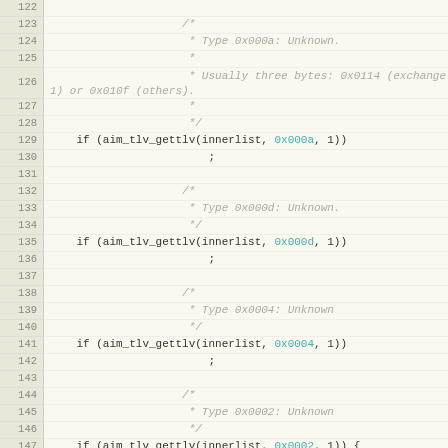[Figure (screenshot): Source code listing, lines 122-150, showing C code with if statements using aim_tlv_gettlv() function with various hex type values (0x000a, 0x000d, 0x0004, 0x0002), along with comments describing unknown types.]